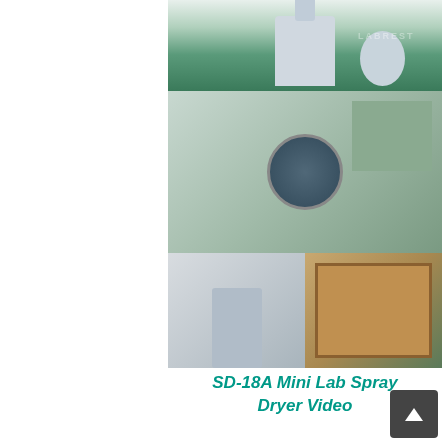[Figure (photo): Product collage of SD-18A Mini Lab Spray Dryer: top image shows the assembled machine in a factory/green-floor setting; middle image shows components and parts laid out with a circular close-up of the machine head; bottom-left shows the machine in a lab environment; bottom-right shows wooden shipping crate.]
SD-18A Mini Lab Spray Dryer Video